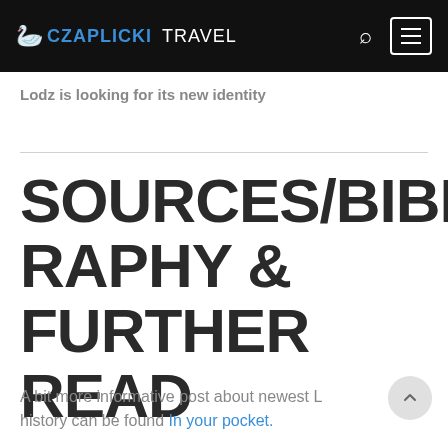CZAPLICKI TRAVEL
Lodz is looking for its new identity
SOURCES/BIBLIOGRAPHY & FURTHER READ
A bit more informative post about newest L history can be found In your pocket.